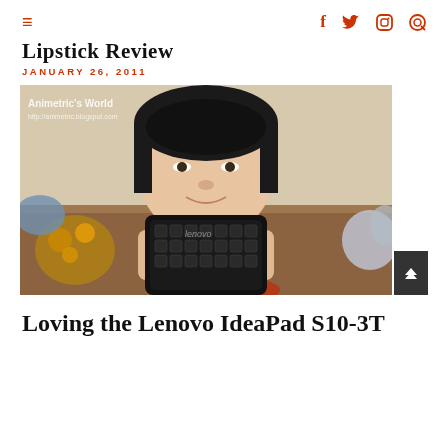≡  f  twitter  instagram  search
Lipstick Review
JANUARY 26, 2011
[Figure (photo): A young girl holding up a Lenovo IdeaPad S10-3T netbook/tablet toward the camera, showing its patterned lid. Watermark: Animetric's World, http://animetric.blogspot.com]
Loving the Lenovo IdeaPad S10-3T